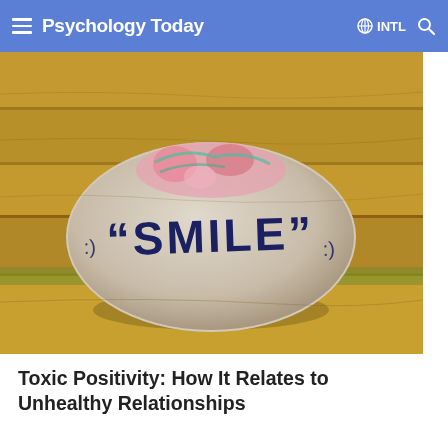Psychology Today  INTL
[Figure (photo): A smooth painted stone with the word 'SMILE' written on it in dark block letters, with small smiley face symbols on each side, resting on a wooden surface. The stone has colorful pink and teal designs on top. The background is a blurred wooden plank surface.]
Toxic Positivity: How It Relates to Unhealthy Relationships